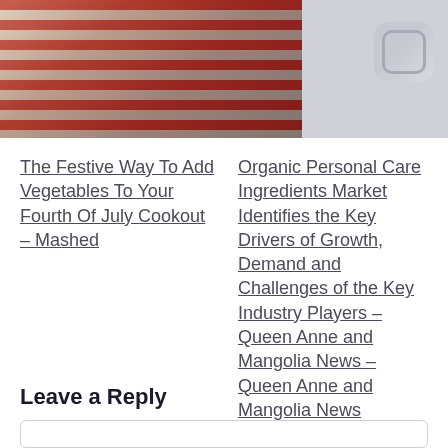[Figure (photo): Left: photo of festive Fourth of July food spread including flag-themed dishes on a dark table. Right: Instagram icon placeholder on grey background.]
The Festive Way To Add Vegetables To Your Fourth Of July Cookout – Mashed
Organic Personal Care Ingredients Market Identifies the Key Drivers of Growth, Demand and Challenges of the Key Industry Players – Queen Anne and Mangolia News – Queen Anne and Mangolia News
Leave a Reply